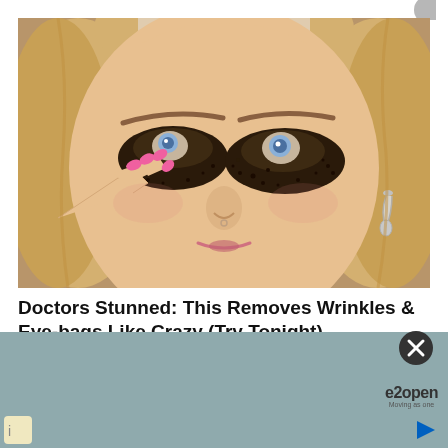[Figure (photo): Close-up photo of a blonde woman with dramatic sparkly dark eye makeup/eye bags effect, touching her face with pink nails, wearing a silver earring]
Doctors Stunned: This Removes Wrinkles & Eye-bags Like Crazy (Try Tonight)
Trending New Finds
[Figure (other): Gray advertisement banner at the bottom of the page with e2open logo, close button, and navigation icons]